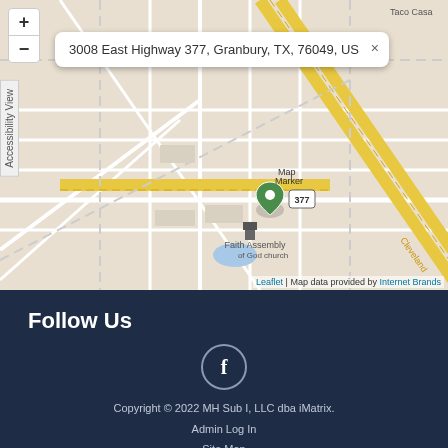[Figure (map): Interactive street map showing location at 3008 East Highway 377, Granbury, TX, 76049, US. Map displays streets, with Faith Assembly church visible and a map marker at the address location. Yellow roads indicate major highways including route 377. Attribution shows Leaflet and Internet Brands.]
Follow Us
[Figure (logo): Facebook icon in a circle — letter f in white on dark navy background with circular outline border]
Copyright © 2022 MH Sub I, LLC dba iMatrix.
Admin Log In
Site Map